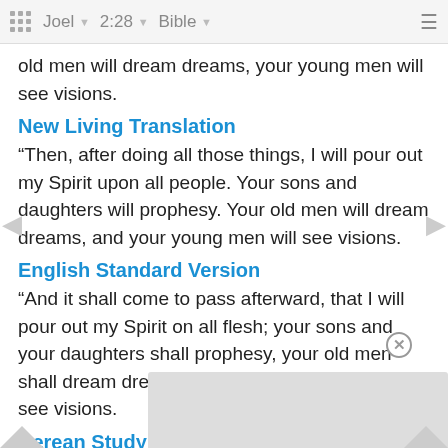Joel | 2:28 | Bible
old men will dream dreams, your young men will see visions.
New Living Translation
“Then, after doing all those things, I will pour out my Spirit upon all people. Your sons and daughters will prophesy. Your old men will dream dreams, and your young men will see visions.
English Standard Version
“And it shall come to pass afterward, that I will pour out my Spirit on all flesh; your sons and your daughters shall prophesy, your old men shall dream dreams, and your young men shall see visions.
Berean Study Bible
And afterward, I will pour out My Spirit on all people. Your s… d men w… ee